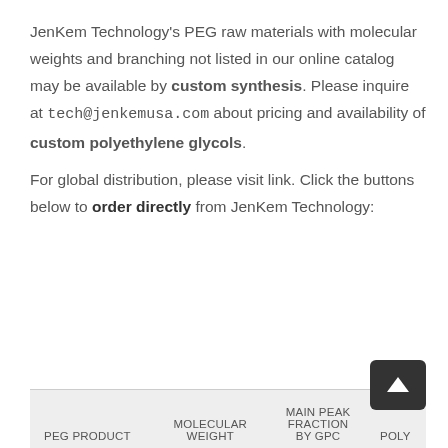JenKem Technology's PEG raw materials with molecular weights and branching not listed in our online catalog may be available by custom synthesis. Please inquire at tech@jenkemusa.com about pricing and availability of custom polyethylene glycols.
For global distribution, please visit link. Click the buttons below to order directly from JenKem Technology:
| PEG PRODUCT | MOLECULAR WEIGHT | MAIN PEAK FRACTION BY GPC | POLY |
| --- | --- | --- | --- |